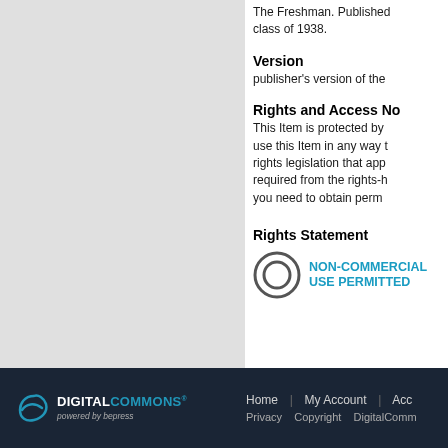The Freshman. Published class of 1938.
Version
publisher's version of the
Rights and Access No
This Item is protected by use this Item in any way t rights legislation that app required from the rights-h you need to obtain perm
Rights Statement
[Figure (logo): Non-Commercial Use Permitted badge with copyright C symbol in circle]
Home | My Account | Acc Privacy Copyright DigitalComm
[Figure (logo): Digital Commons powered by bepress logo]